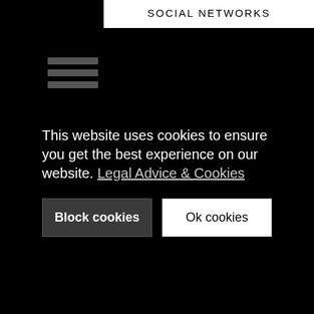SOCIAL NETWORKS
[Figure (other): Hamburger menu icon with three horizontal grey bars]
This website uses cookies to ensure you get the best experience on our website. Legal Advice & Cookies
Block cookies
Ok cookies